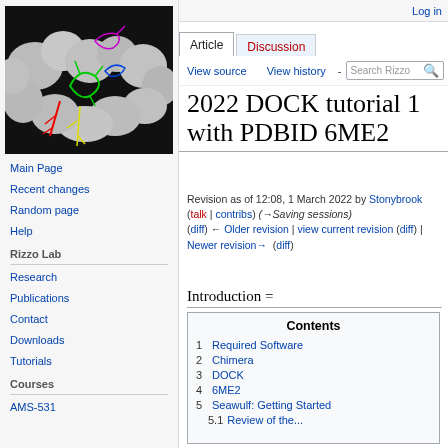[Figure (screenshot): Molecular docking visualization showing protein surface (gray blobs) with colored ligands (green, red, yellow, blue, magenta) against black background]
Log in
Article | Discussion
View source | View history - Search Rizzo
2022 DOCK tutorial 1 with PDBID 6ME2
Revision as of 12:08, 1 March 2022 by Stonybrook (talk | contribs) (→Saving sessions)
(diff) ← Older revision | view current revision (diff) | Newer revision → (diff)
Introduction =
Contents
1 Required Software
2 Chimera
3 DOCK
4 6ME2
5 Seawulf: Getting Started
5.1 Review of the...
Main Page
Recent changes
Random page
Help
Rizzo Lab
Research
Publications
Contact
Downloads
Tutorials
Courses
AMS-531